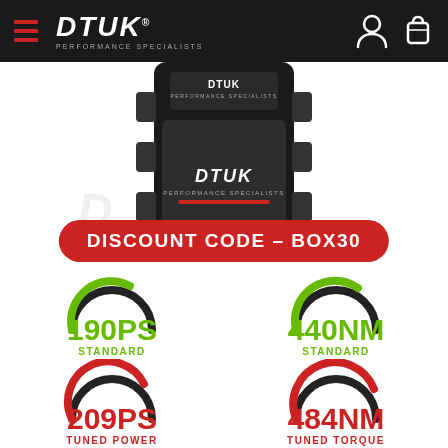DTUK PERFORMANCE SPECIALISTS
[Figure (photo): DTUK performance tuning box device showing brand logo and red underline, displayed against white background with discount code badge]
DISCOUNT CODE - BOX30
[Figure (infographic): Four gauge-style arc infographics showing standard and tuned power/torque values: 190PS Standard (green arc), 440NM Standard (green arc), 209PS Tuned Power (red arc), 484NM Tuned Torque (red arc)]